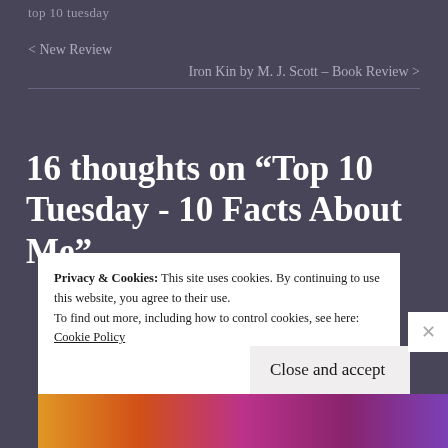top 10 tuesday
< New Review
Iron Kin by M. J. Scott – Book Review >
16 thoughts on “Top 10 Tuesday - 10 Facts About Me”
Privacy & Cookies: This site uses cookies. By continuing to use this website, you agree to their use.
To find out more, including how to control cookies, see here: Cookie Policy
Close and accept